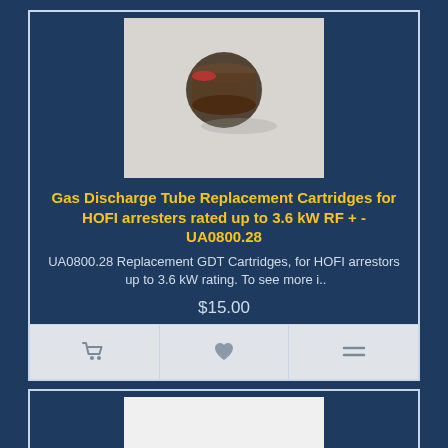[Figure (photo): Small cylindrical gas discharge tube cartridge component photographed on a light gray background]
Gas Discharge Tube Replacement Cartridges for HOFI arresters rated up to 3.6 kW RF + - UA0800.28
UA0800.28 Replacement GDT Cartridges, for HOFI arrestors  up to 3.6 kW rating. To see more i..
$15.00
[Figure (photo): Blue rotator device (PST2051) without controller, showing mechanical rotation mechanism on white background]
PST2051 - Rotator without controller (compare to T2X, G1000 good for tribander and 2 el 40 m Yagi)